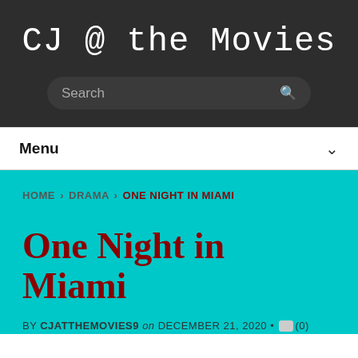CJ @ the Movies
Search
Menu
HOME › DRAMA › ONE NIGHT IN MIAMI
One Night in Miami
BY CJATTHEMOVIES9 on DECEMBER 21, 2020 • (0)